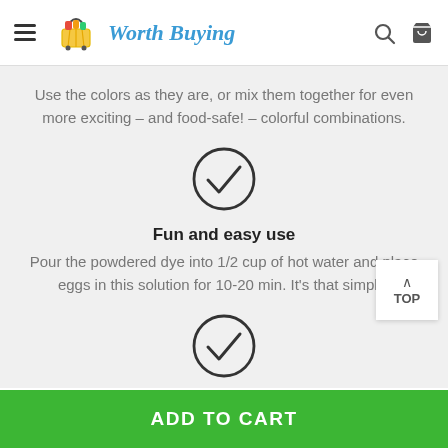Worth Buying
Use the colors as they are, or mix them together for even more exciting – and food-safe! – colorful combinations.
[Figure (illustration): Checkmark icon inside a circle]
Fun and easy use
Pour the powdered dye into 1/2 cup of hot water and place eggs in this solution for 10-20 min. It's that simple!
[Figure (illustration): Checkmark icon inside a circle (partially visible)]
ADD TO CART